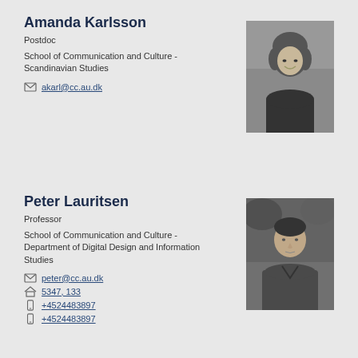Amanda Karlsson
Postdoc
School of Communication and Culture - Scandinavian Studies
akarl@cc.au.dk
[Figure (photo): Black and white portrait photo of Amanda Karlsson, a woman with curly hair smiling]
Peter Lauritsen
Professor
School of Communication and Culture - Department of Digital Design and Information Studies
peter@cc.au.dk
5347, 133
+4524483897
+4524483897
[Figure (photo): Black and white portrait photo of Peter Lauritsen, a man looking slightly to the side]